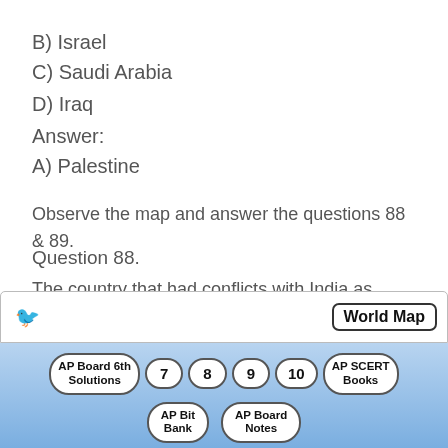B) Israel
C) Saudi Arabia
D) Iraq
Answer:
A) Palestine
Observe the map and answer the questions 88 & 89.
Question 88.
The country that had conflicts with India as sharing of river waters of the Ganga and Brahmaputra and illegal migration
[Figure (infographic): Navigation footer bar with World Map label, bird icon, and navigation buttons: AP Board 6th Solutions, 7, 8, 9, 10, AP SCERT Books, AP Bit Bank, AP Board Notes]